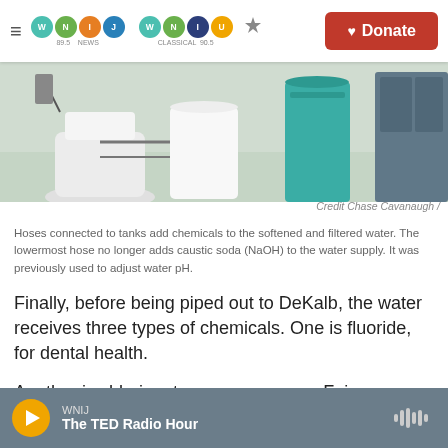WNIJ NEWS 89.5 | WNIU CLASSICAL 90.5 | Donate
[Figure (photo): Interior bathroom/utility room showing a white toilet, white barrel tank, teal drum, and grey cabinet with hoses connected.]
Credit Chase Cavanaugh /
Hoses connected to tanks add chemicals to the softened and filtered water. The lowermost hose no longer adds caustic soda (NaOH) to the water supply. It was previously used to adjust water pH.
Finally, before being piped out to DeKalb, the water receives three types of chemicals. One is fluoride, for dental health.
Another is chlorine, to remove germs.  Faivre says this is…
WNIJ | The TED Radio Hour